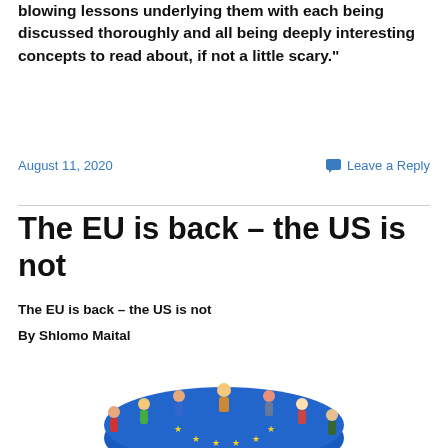blowing lessons underlying them with each being discussed thoroughly and all being deeply interesting concepts to read about, if not a little scary."
August 11, 2020
Leave a Reply
The EU is back – the US is not
The EU is back – the US is not
By Shlomo Maital
[Figure (illustration): Cartoon illustration of diverse people standing around and on top of a blue EU globe with yellow stars, holding hands in a circle.]